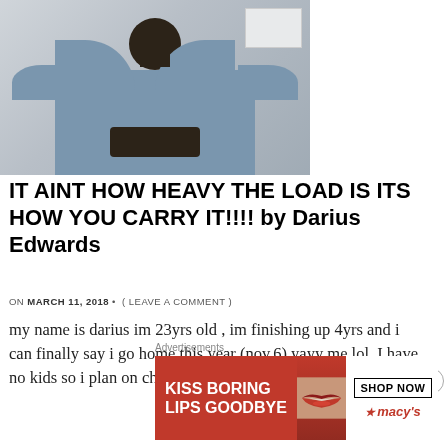[Figure (photo): Headless/cropped photo of a person in a blue short-sleeve button-up shirt, standing against a light grey wall. The photo is cropped at the neck/head area.]
IT AINT HOW HEAVY THE LOAD IS ITS HOW YOU CARRY IT!!!! by Darius Edwards
ON MARCH 11, 2018 • ( LEAVE A COMMENT )
my name is darius im 23yrs old , im finishing up 4yrs and i can finally say i go home this year (nov.6) yayy me lol. I have no kids so i plan on chasing my dreams
[Figure (photo): Advertisement banner: red background with white text 'KISS BORING LIPS GOODBYE', image of woman's lips with red lipstick, and white box on right with 'SHOP NOW' and Macy's star logo.]